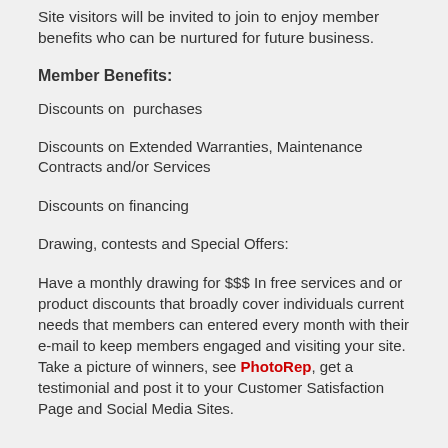Site visitors will be invited to join to enjoy member benefits who can be nurtured for future business.
Member Benefits:
Discounts on  purchases
Discounts on Extended Warranties, Maintenance Contracts and/or Services
Discounts on financing
Drawing, contests and Special Offers:
Have a monthly drawing for $$$ In free services and or product discounts that broadly cover individuals current needs that members can entered every month with their e-mail to keep members engaged and visiting your site. Take a picture of winners, see PhotoRep, get a testimonial and post it to your Customer Satisfaction Page and Social Media Sites.